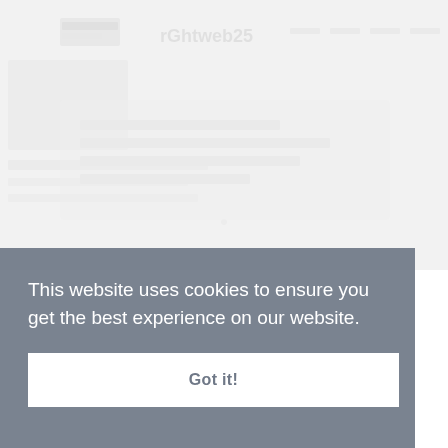[Figure (screenshot): Faded/blurred website content in the background, showing a navigation bar and page content that is largely obscured or low-opacity.]
This website uses cookies to ensure you get the best experience on our website.
Got it!